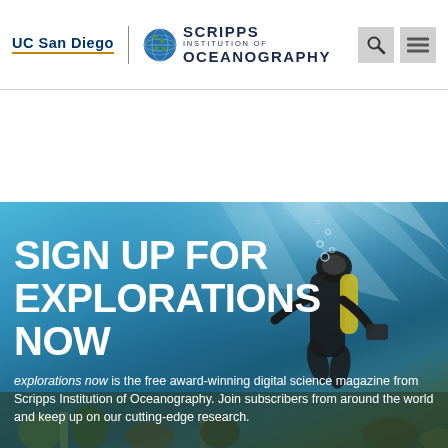UC San Diego | SCRIPPS INSTITUTION OF OCEANOGRAPHY
[Figure (photo): Underwater photo of a scuba diver in dark wetsuit with yellow accents and diving equipment, photographing coral reef in clear blue ocean water with light rays from the surface above.]
SIGN UP FOR EXPLORATIONS NOW
explorations now is the free award-winning digital science magazine from Scripps Institution of Oceanography. Join subscribers from around the world and keep up on our cutting-edge research.